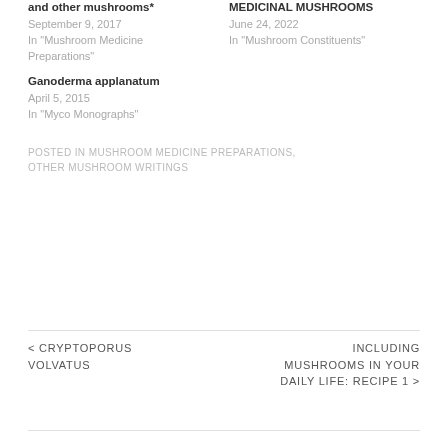and other mushrooms*
September 9, 2017
In "Mushroom Medicine Preparations"
MEDICINAL MUSHROOMS
June 24, 2022
In "Mushroom Constituents"
Ganoderma applanatum
April 5, 2015
In "Myco Monographs"
POSTED IN MUSHROOM MEDICINE PREPARATIONS, OTHER MUSHROOM WRITINGS
< CRYPTOPORUS VOLVATUS
INCLUDING MUSHROOMS IN YOUR DAILY LIFE: RECIPE 1 >